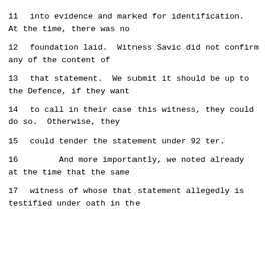11     into evidence and marked for identification.
At the time, there was no
12     foundation laid.  Witness Savic did not confirm
any of the content of
13     that statement.  We submit it should be up to
the Defence, if they want
14     to call in their case this witness, they could
do so.  Otherwise, they
15     could tender the statement under 92 ter.
16          And more importantly, we noted already
at the time that the same
17     witness of whose that statement allegedly is
testified under oath in the